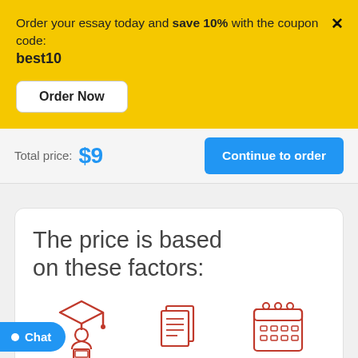Order your essay today and save 10% with the coupon code: best10
[Figure (screenshot): Order Now button - white rounded rectangle button]
Total price: $9
[Figure (screenshot): Continue to order - blue rounded rectangle button]
The price is based on these factors:
[Figure (illustration): Three red icons: a graduate student with laptop, stacked documents/pages, and a calendar]
[Figure (screenshot): Chat button - blue pill shape with chat dot icon and Chat label]